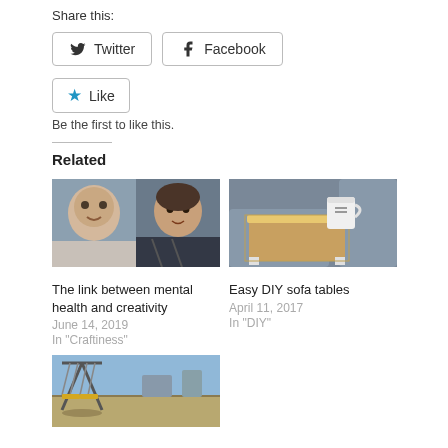Share this:
Twitter | Facebook (share buttons)
Like
Be the first to like this.
Related
[Figure (photo): Two people: a young girl smiling on the left and an adult woman on the right]
[Figure (photo): A sofa table with a white mug on top, gray sofa in background]
The link between mental health and creativity
June 14, 2019
In "Craftiness"
Easy DIY sofa tables
April 11, 2017
In "DIY"
[Figure (photo): Playground with yellow swings, brick wall, and blue sky]